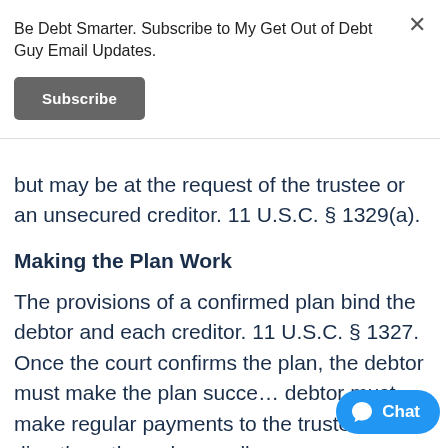Be Debt Smarter. Subscribe to My Get Out of Debt Guy Email Updates.
Subscribe
but may be at the request of the trustee or an unsecured creditor. 11 U.S.C. § 1329(a).
Making the Plan Work
The provisions of a confirmed plan bind the debtor and each creditor. 11 U.S.C. § 1327. Once the court confirms the plan, the debtor must make the plan succeed. The debtor must make regular payments to the trustee, either directly or through payroll...